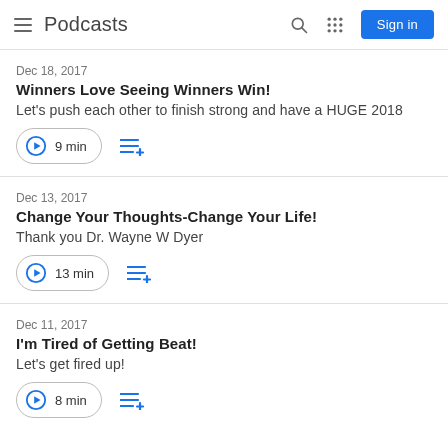Podcasts
Dec 18, 2017
Winners Love Seeing Winners Win!
Let's push each other to finish strong and have a HUGE 2018
9 min
Dec 13, 2017
Change Your Thoughts-Change Your Life!
Thank you Dr. Wayne W Dyer
13 min
Dec 11, 2017
I'm Tired of Getting Beat!
Let's get fired up!
8 min